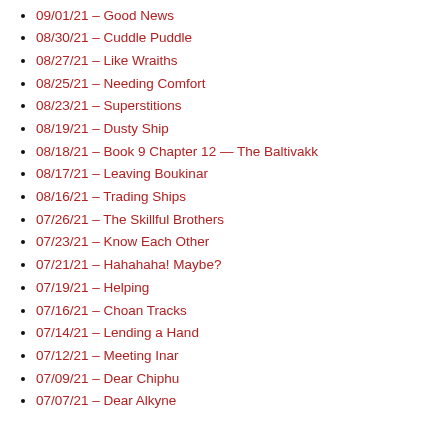09/01/21 – Good News
08/30/21 – Cuddle Puddle
08/27/21 – Like Wraiths
08/25/21 – Needing Comfort
08/23/21 – Superstitions
08/19/21 – Dusty Ship
08/18/21 – Book 9 Chapter 12 — The Baltivakk
08/17/21 – Leaving Boukinar
08/16/21 – Trading Ships
07/26/21 – The Skillful Brothers
07/23/21 – Know Each Other
07/21/21 – Hahahaha! Maybe?
07/19/21 – Helping
07/16/21 – Choan Tracks
07/14/21 – Lending a Hand
07/12/21 – Meeting Inar
07/09/21 – Dear Chiphu
07/07/21 – Dear Alkyne